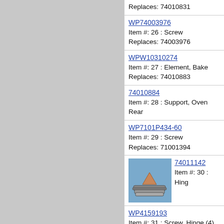Replaces: 74010831
WP74003976
Item #: 26 : Screw
Replaces: 74003976
WPW10310274
Item #: 27 : Element, Bake
Replaces: 74010883
74010884
Item #: 28 : Support, Oven Rear
WP7101P434-60
Item #: 29 : Screw
Replaces: 71001394
[Figure (photo): Photo of oven hinge part 74011142]
74011142
Item #: 30 : Hing
WP4159193
Item #: 31 : Screw, Hinge (4)
Replaces: 7101P282-60
WP7450P034-60
Item #: 32 : Switch, Hi-limit
Replaces: 74010818
WP90767
Item #: 33 : Screw, large (2)